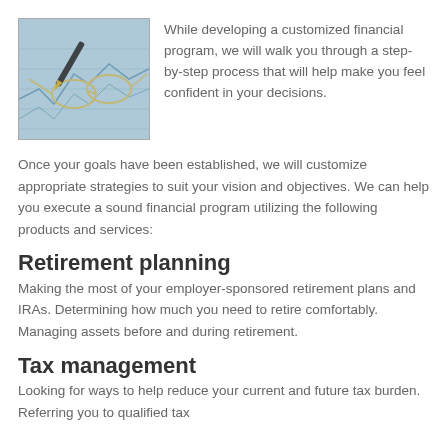[Figure (photo): Photo of glasses and a pen resting on financial charts/documents, blue-toned image]
While developing a customized financial program, we will walk you through a step-by-step process that will help make you feel confident in your decisions.
Once your goals have been established, we will customize appropriate strategies to suit your vision and objectives. We can help you execute a sound financial program utilizing the following products and services:
Retirement planning
Making the most of your employer-sponsored retirement plans and IRAs. Determining how much you need to retire comfortably. Managing assets before and during retirement.
Tax management
Looking for ways to help reduce your current and future tax burden. Referring you to qualified tax